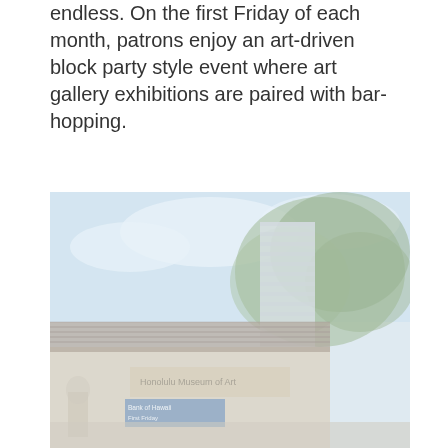endless. On the first Friday of each month, patrons enjoy an art-driven block party style event where art gallery exhibitions are paired with bar-hopping.
[Figure (photo): Exterior photograph of the Honolulu Museum of Art building with a large tree in the foreground, a tiled roof, and a tall white striped building in the background. A blue Bank of Hawaii banner is visible near the entrance.]